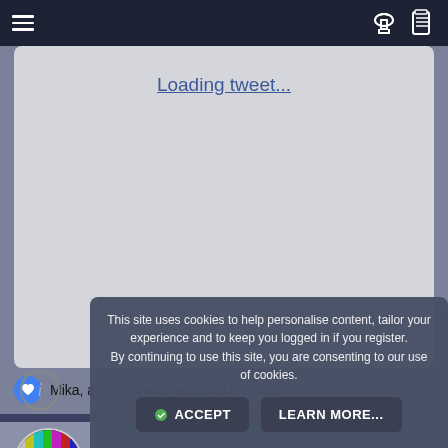Navigation bar with hamburger menu and icons
Loading tweet...
Mika, aru yi, WyndReed and 2 others
Ibis
absolute fool
Jul 8, 2022
#1,114
This site uses cookies to help personalise content, tailor your experience and to keep you logged in if you register. By continuing to use this site, you are consenting to our use of cookies.
ACCEPT
LEARN MORE...